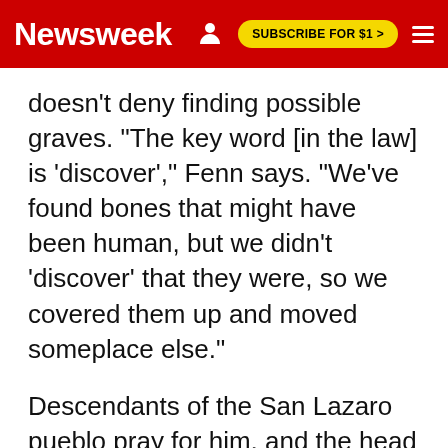Newsweek | SUBSCRIBE FOR $1 >
doesn't deny finding possible graves. "The key word [in the law] is 'discover'," Fenn says. "We've found bones that might have been human, but we didn't 'discover' that they were, so we covered them up and moved someplace else."
Descendants of the San Lazaro pueblo pray for him, and the head of the National Congress of the American Indian told me he believes that collectors like Fenn are cursed. But only a distant barbed-wire fence and signs that say